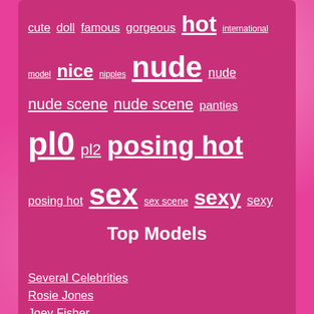cute doll famous gorgeous hot international model nice nipples nude nude nude scene nude scene panties pl0 pl2 posing hot posing hot sex sex scene sexy sexy tits toples topless
Top Models
Several Celebrities
Rosie Jones
Joey Fisher
Audrina Patridge
Natalie Jayne Roser
Kelly Brook